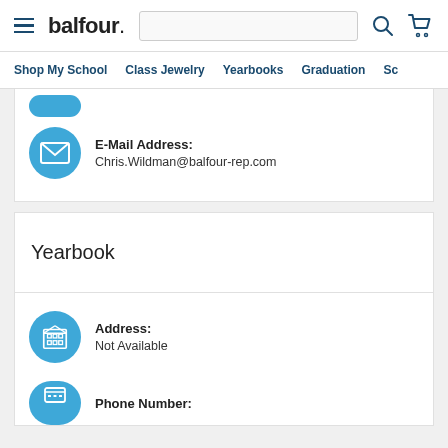balfour. — navigation header with hamburger menu, search bar, search icon, cart icon
Shop My School | Class Jewelry | Yearbooks | Graduation | Sc...
E-Mail Address: Chris.Wildman@balfour-rep.com
Yearbook
Address: Not Available
Phone Number: